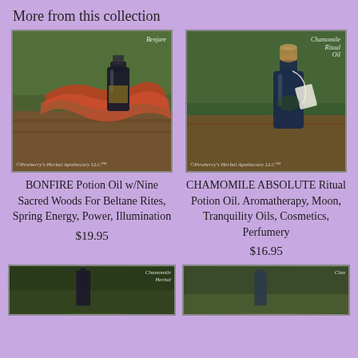More from this collection
[Figure (photo): Photo of a small dark bottle with red/orange fabric draped over it on a wooden surface, with green leaves in background. Watermark: Pewberry's Herbal Apothecary LLC. Label in top right: Benjare]
BONFIRE Potion Oil w/Nine Sacred Woods For Beltane Rites, Spring Energy, Power, Illumination
$19.95
[Figure (photo): Photo of a dark blue glass bottle with cork stopper and white tag, sitting on wood surface with green leaves background. Watermark: Pewberry's Herbal Apothecary LLC. Label in top right: Chamomile Ritual Oil]
CHAMOMILE ABSOLUTE Ritual Potion Oil. Aromatherapy, Moon, Tranquility Oils, Cosmetics, Perfumery
$16.95
[Figure (photo): Partial photo at bottom left showing dark bottles, with label: Chamomile Herbal]
[Figure (photo): Partial photo at bottom right showing bottles, with label: Clav]